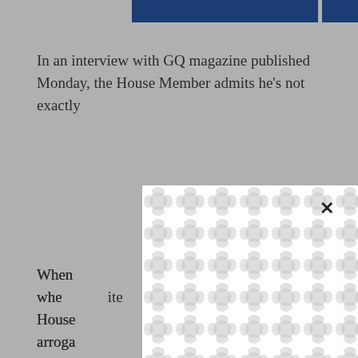In an interview with GQ magazine published Monday, the House Member admits he’s not exactly [obscured by modal]
When [obscured] k whether [obscured] ite House [obscured] arroga[obscured] health[obscured] answer[obscured] he arroga[obscured]
[Figure (other): Modal dialog overlay with decorative pattern (interlocking circles/ovals) obscuring article text, with a close (X) button in the top right corner]
And even though Frank’s notoriously prickly demeanor comes through in the interview, he [obscured]